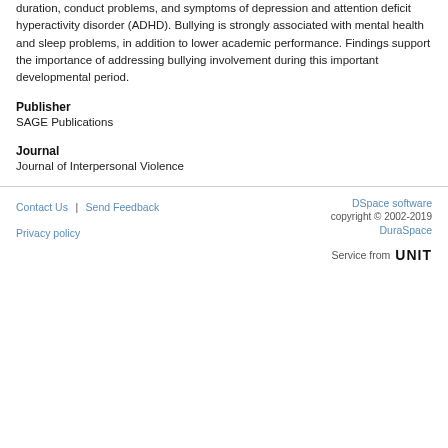duration, conduct problems, and symptoms of depression and attention deficit hyperactivity disorder (ADHD). Bullying is strongly associated with mental health and sleep problems, in addition to lower academic performance. Findings support the importance of addressing bullying involvement during this important developmental period.
Publisher
SAGE Publications
Journal
Journal of Interpersonal Violence
Contact Us | Send Feedback | DSpace software copyright © 2002-2019 DuraSpace | Service from UNIT | Privacy policy